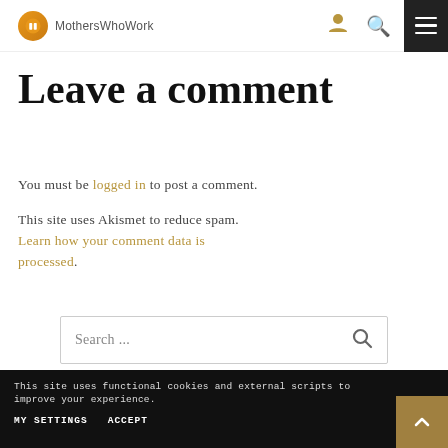MothersWhoWork
Leave a comment
You must be logged in to post a comment.
This site uses Akismet to reduce spam. Learn how your comment data is processed.
[Figure (screenshot): Search input box with placeholder text 'Search ...' and a search icon on the right]
This site uses functional cookies and external scripts to improve your experience. MY SETTINGS  ACCEPT